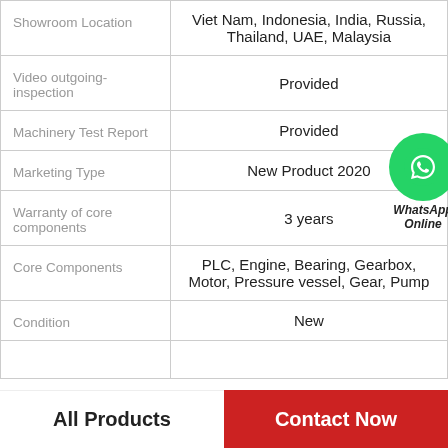| Property | Value |
| --- | --- |
| Showroom Location | Viet Nam, Indonesia, India, Russia, Thailand, UAE, Malaysia |
| Video outgoing-inspection | Provided |
| Machinery Test Report | Provided |
| Marketing Type | New Product 2020 |
| Warranty of core components | 3 years |
| Core Components | PLC, Engine, Bearing, Gearbox, Motor, Pressure vessel, Gear, Pump |
| Condition | New |
|  |  |
All Products
Contact Now